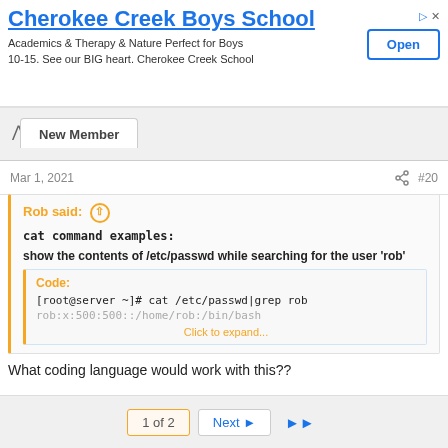[Figure (screenshot): Advertisement banner for Cherokee Creek Boys School with Open button]
New Member
Mar 1, 2021  #20
Rob said: ↑

cat command examples:

show the contents of /etc/passwd while searching for the user 'rob'

Code:
[root@server ~]# cat /etc/passwd|grep rob
rob:x:500:500::/home/rob:/bin/bash
Click to expand...
What coding language would work with this??
1 of 2  Next ▶  ▶▶